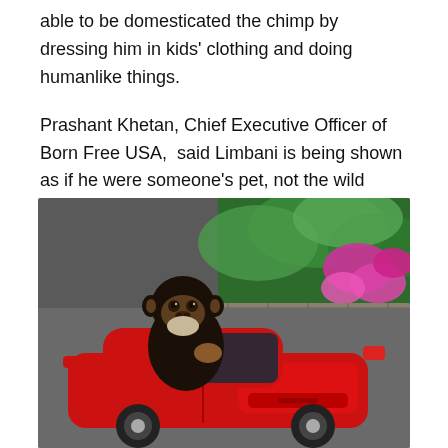able to be domesticated the chimp by dressing him in kids' clothing and doing humanlike things.
Prashant Khetan, Chief Executive Officer of Born Free USA,  said Limbani is being shown as if he were someone's pet, not the wild animal that he is.
[Figure (photo): A chimpanzee sitting in a red toy/ride-on car, gripping the steering wheel. The background shows a garden path with tropical plants and pink flowers.]